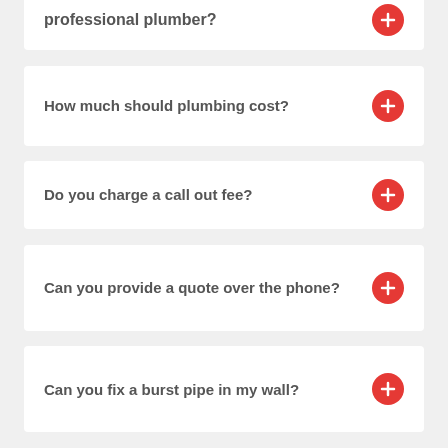professional plumber?
How much should plumbing cost?
Do you charge a call out fee?
Can you provide a quote over the phone?
Can you fix a burst pipe in my wall?